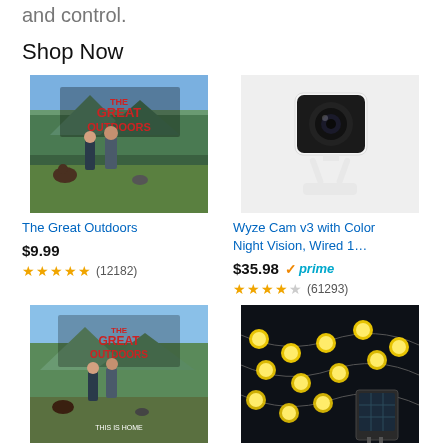and control.
Shop Now
[Figure (photo): Movie poster for The Great Outdoors (top left product)]
The Great Outdoors
$9.99
★★★★★ (12182)
[Figure (photo): Wyze Cam v3 security camera on white stand]
Wyze Cam v3 with Color Night Vision, Wired 1…
$35.98 ✓prime
★★★★☆ (61293)
[Figure (photo): Movie poster for The Great Outdoors (bottom left product)]
The Great Outdoors
[Figure (photo): Solar string lights with warm yellow globe bulbs against dark background]
Solar String Lights, 2